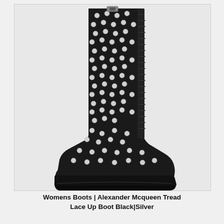[Figure (photo): Black leather knee-high lace-up boot covered in silver studs all over, with a thick chunky black sole. The boot is photographed against a light grey background.]
Womens Boots | Alexander Mcqueen Tread Lace Up Boot Black|Silver